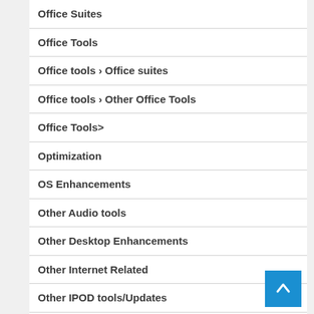Office Suites
Office Tools
Office tools › Office suites
Office tools › Other Office Tools
Office Tools>
Optimization
OS Enhancements
Other Audio tools
Other Desktop Enhancements
Other Internet Related
Other IPOD tools/Updates
Other Office Tools